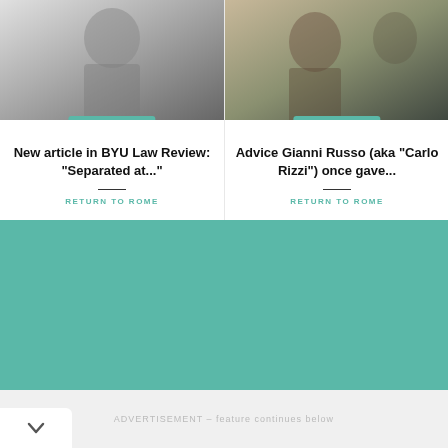[Figure (photo): Black and white photo of a person, likely a baseball player or similar athlete, partially cropped at top]
CATHOLIC
New article in BYU Law Review: "Separated at..."
RETURN TO ROME
[Figure (photo): Color photo of a man looking to the side, appears to be a film still]
CATHOLIC
Advice Gianni Russo (aka "Carlo Rizzi") once gave...
RETURN TO ROME
ADVERTISEMENT – feature continues below